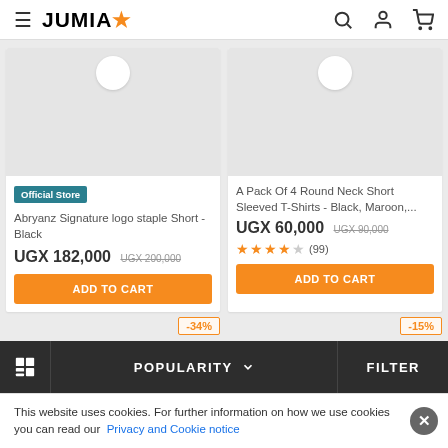JUMIA
[Figure (screenshot): Two product cards on Jumia e-commerce site. Left: Abryanz Signature logo staple Short - Black, UGX 182,000 (was UGX 200,000), Official Store badge, ADD TO CART button, -34% discount. Right: A Pack Of 4 Round Neck Short Sleeved T-Shirts - Black, Maroon,..., UGX 60,000 (was UGX 90,000), 4-star rating (99 reviews), ADD TO CART button, -15% discount.]
This website uses cookies. For further information on how we use cookies you can read our Privacy and Cookie notice